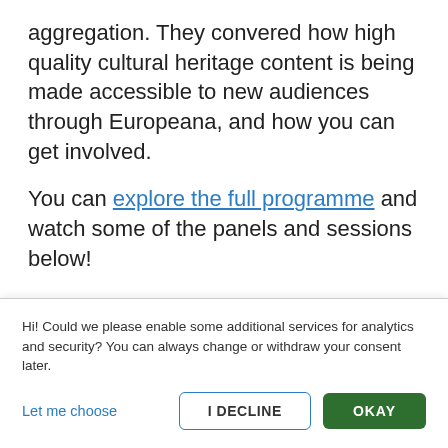aggregation. They convered how high quality cultural heritage content is being made accessible to new audiences through Europeana, and how you can get involved.
You can explore the full programme and watch some of the panels and sessions below!
Day 1: Opening, lightening talks and wrap-up
Hi! Could we please enable some additional services for analytics and security? You can always change or withdraw your consent later.